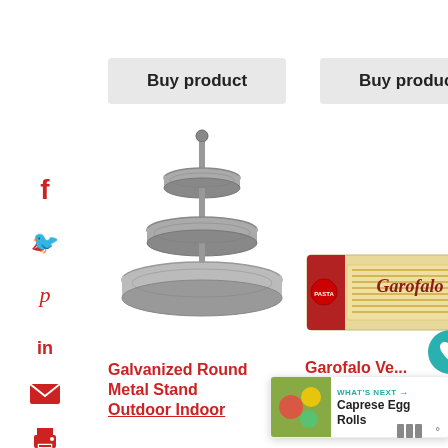[Figure (other): Buy product button (left), gray rounded rectangle]
[Figure (other): Buy product button (right), gray rounded rectangle]
[Figure (other): Social media icons column: Facebook, Twitter, Pinterest, LinkedIn, Email, Print]
[Figure (photo): Three-tier galvanized round metal stand product photo]
[Figure (photo): Garofalo pasta package product photo]
Galvanized Round Metal Stand Outdoor Indoor
Garofalo Ve...
$9.89
[Figure (other): Heart/favorite icon button in teal circle]
[Figure (other): Share icon button in gray]
[Figure (other): What's Next banner: Caprese Egg Rolls]
[Figure (logo): Mosaic logo bottom right]